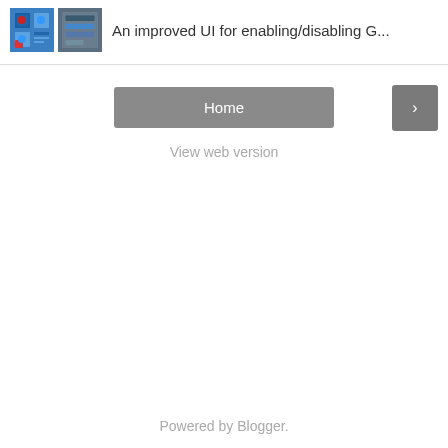[Figure (screenshot): Two thumbnail images side by side showing app UI screenshots with grid icons and blue/gray interface elements]
An improved UI for enabling/disabling G...
Home
›
View web version
Powered by Blogger.